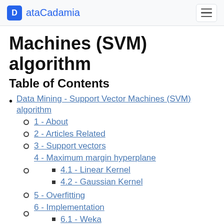ataCadamia
Machines (SVM) algorithm
Table of Contents
Data Mining - Support Vector Machines (SVM) algorithm
1 - About
2 - Articles Related
3 - Support vectors
4 - Maximum margin hyperplane
4.1 - Linear Kernel
4.2 - Gaussian Kernel
5 - Overfitting
6 - Implementation
6.1 - Weka
7 - One class